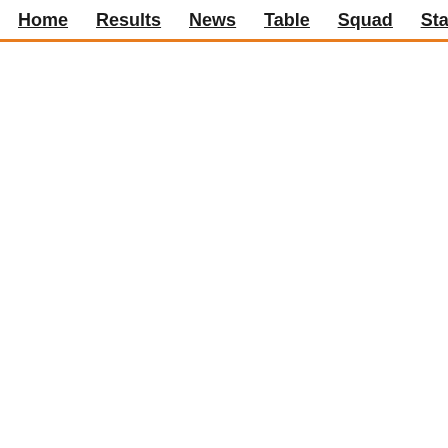Home  Results  News  Table  Squad  Statistics